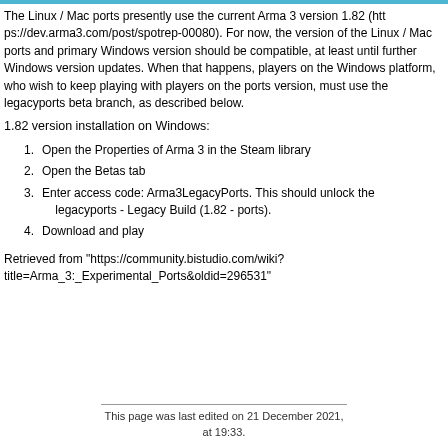The Linux / Mac ports presently use the current Arma 3 version 1.82 (https://dev.arma3.com/post/spotrep-00080). For now, the version of the Linux / Mac ports and primary Windows version should be compatible, at least until further Windows version updates. When that happens, players on the Windows platform, who wish to keep playing with players on the ports version, must use the legacyports beta branch, as described below.
1.82 version installation on Windows:
Open the Properties of Arma 3 in the Steam library
Open the Betas tab
Enter access code: Arma3LegacyPorts. This should unlock the legacyports - Legacy Build (1.82 - ports).
Download and play
Retrieved from "https://community.bistudio.com/wiki?title=Arma_3:_Experimental_Ports&oldid=296531"
This page was last edited on 21 December 2021, at 19:33.